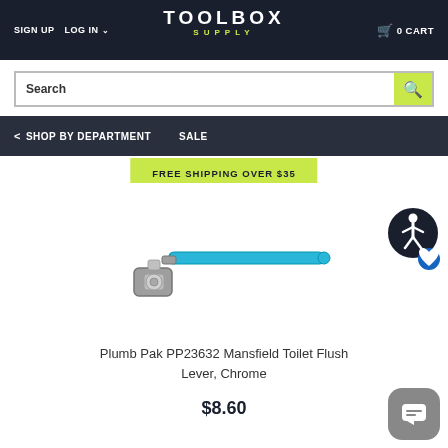SIGN UP  LOG IN  TOOLBOX SUPPLY  0 CART
Search
SHOP BY DEPARTMENT  SALE
FREE SHIPPING OVER $35
[Figure (photo): Plumb Pak PP23632 Mansfield Toilet Flush Lever, Chrome product image on white background]
Plumb Pak PP23632 Mansfield Toilet Flush Lever, Chrome
$8.60